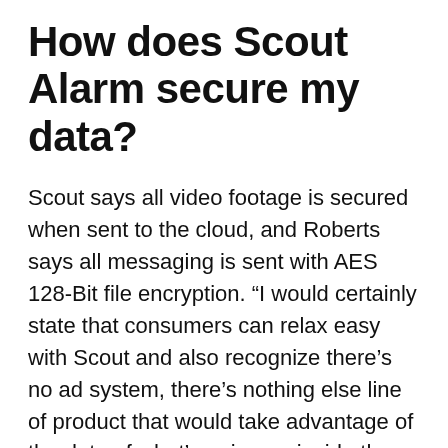How does Scout Alarm secure my data?
Scout says all video footage is secured when sent to the cloud, and Roberts says all messaging is sent with AES 128-Bit file encryption. “I would certainly state that consumers can relax easy with Scout and also recognize there’s no ad system, there’s nothing else line of product that would take advantage of the data of what’s going on inside the house, and we’re really delicate about that,” said Roberts. However since Scout is so conveniently integrated with other tools, it’s still beneficial to read the privacy policy as well as terms and conditions of other third parties to recognize better what civil liberties each company has